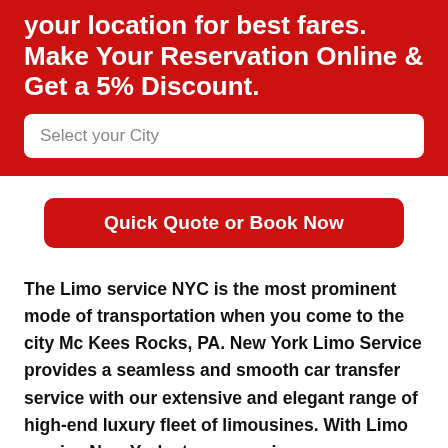your location for best fares. Make Your Reservation Online & Get a 5% Discount.
Select your City
Quick Quote or Book Now
The Limo service NYC is the most prominent mode of transportation when you come to the city Mc Kees Rocks, PA. New York Limo Service provides a seamless and smooth car transfer service with our extensive and elegant range of high-end luxury fleet of limousines. With Limo service New York at your service, we assure you to get you the most extraordinary, sophisticated, and enticing lifetime